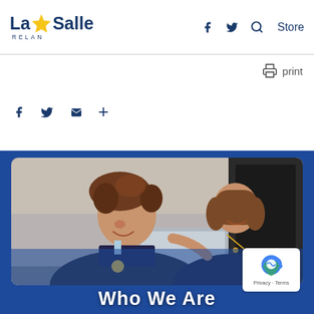La Salle RELAN — Store | Facebook | Twitter | Search
print
f  Twitter  Mail  +
[Figure (photo): A smiling young male student in a dark school uniform looking at a laptop or device, with a smiling female teacher/adult in dark clothing leaning in alongside him, in a classroom setting.]
Who We Are